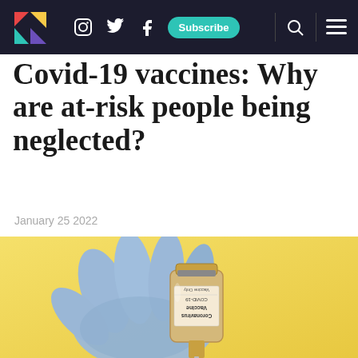Navbar with logo, Instagram, Twitter, Facebook icons, Subscribe button, search and menu icons
Covid-19 vaccines: Why are at-risk people being neglected?
January 25 2022
[Figure (photo): A gloved hand holding a small vial labeled 'Coronavirus Vaccine COVID-19, Vaccine Only' against a yellow background, with a syringe visible below.]